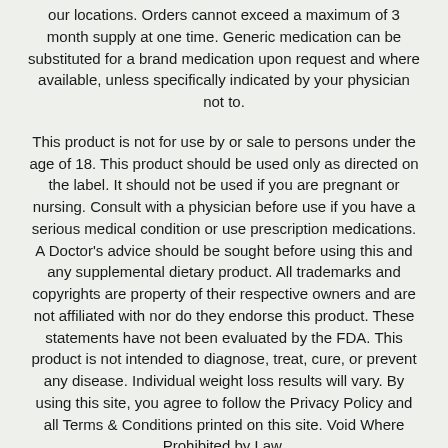our locations. Orders cannot exceed a maximum of 3 month supply at one time. Generic medication can be substituted for a brand medication upon request and where available, unless specifically indicated by your physician not to.
This product is not for use by or sale to persons under the age of 18. This product should be used only as directed on the label. It should not be used if you are pregnant or nursing. Consult with a physician before use if you have a serious medical condition or use prescription medications. A Doctor's advice should be sought before using this and any supplemental dietary product. All trademarks and copyrights are property of their respective owners and are not affiliated with nor do they endorse this product. These statements have not been evaluated by the FDA. This product is not intended to diagnose, treat, cure, or prevent any disease. Individual weight loss results will vary. By using this site, you agree to follow the Privacy Policy and all Terms & Conditions printed on this site. Void Where Prohibited by Law.